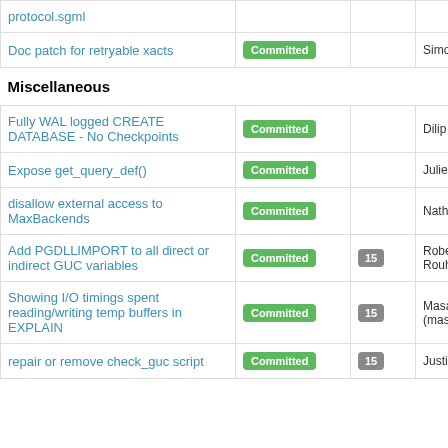| Description | Status | Num | Who |
| --- | --- | --- | --- |
| protocol.sgml |  |  |  |
| Doc patch for retryable xacts | Committed |  | Simon Riggs |
| Miscellaneous |  |  |  |
| Fully WAL logged CREATE DATABASE - No Checkpoints | Committed |  | Dilip Kumar |
| Expose get_query_def() | Committed |  | Julien Rouhaud |
| disallow external access to MaxBackends | Committed |  | Nathan Bossart |
| Add PGDLLIMPORT to all direct or indirect GUC variables | Committed | 15 | Robert Haas, Rouhaud (rju) |
| Showing I/O timings spent reading/writing temp buffers in EXPLAIN | Committed | 15 | Masahiko Sawada (masahikosa) |
| repair or remove check_guc script | Committed | 15 | Justin Pryzby |